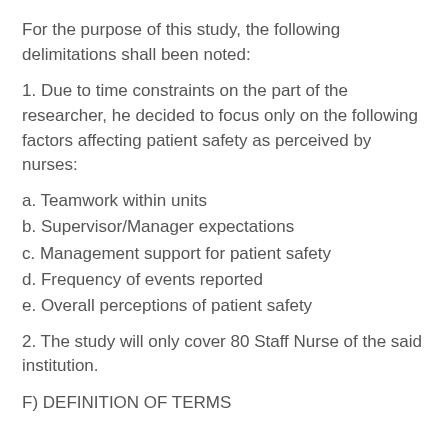For the purpose of this study, the following delimitations shall been noted:
1. Due to time constraints on the part of the researcher, he decided to focus only on the following factors affecting patient safety as perceived by nurses:
a. Teamwork within units
b. Supervisor/Manager expectations
c. Management support for patient safety
d. Frequency of events reported
e. Overall perceptions of patient safety
2. The study will only cover 80 Staff Nurse of the said institution.
F) DEFINITION OF TERMS